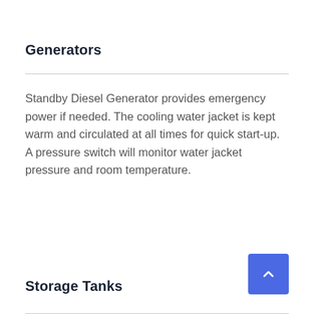Generators
Standby Diesel Generator provides emergency power if needed. The cooling water jacket is kept warm and circulated at all times for quick start-up. A pressure switch will monitor water jacket pressure and room temperature.
Storage Tanks